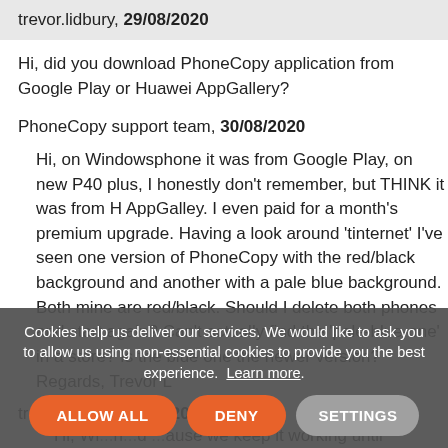trevor.lidbury, 29/08/2020
Hi, did you download PhoneCopy application from Google Play or Huawei AppGallery?
PhoneCopy support team, 30/08/2020
Hi, on Windowsphone it was from Google Play, on new P40 plus, I honestly don't remember, but THINK it was from H AppGalley. I even paid for a month's premium upgrade. Having a look around 'tinternet' I've seen one version of PhoneCopy with the red/black background and another with a pale blue background. Both mine are red/black. Should I delete both phones and start again? Can't actually find the 'pale-blue-one' in a store? Is the blue one the newer version? Regards, Trevor L
trevor.lidbury, 30/08/2020
Hi, Wi... d ... ouse we keep it working until Microsoft will keep live their
Cookies help us deliver our services. We would like to ask you to allow us using non-essential cookies to provide you the best experience. Learn more.
ALLOW ALL
DENY
SETTINGS